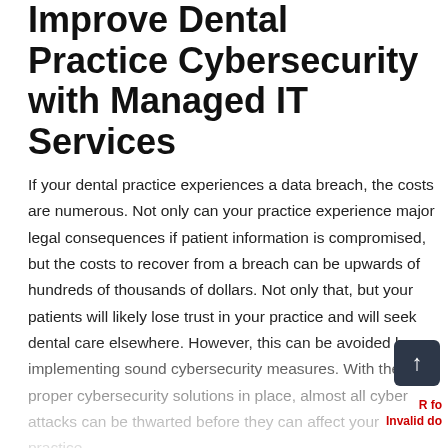Improve Dental Practice Cybersecurity with Managed IT Services
If your dental practice experiences a data breach, the costs are numerous. Not only can your practice experience major legal consequences if patient information is compromised, but the costs to recover from a breach can be upwards of hundreds of thousands of dollars. Not only that, but your patients will likely lose trust in your practice and will seek dental care elsewhere. However, this can be avoided by implementing sound cybersecurity measures. With the proper cybersecurity solutions in place, almost all cyber attacks can be thwarted before they can affect your practice.
To get up to date with the proper dental practice cybersecurity, you need an IT company you can trust. Elemental Technology Solutions offers a complete suite of managed IT services for dental settings. Contact us about our IT management and...